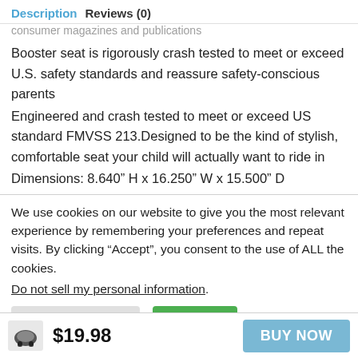Description   Reviews (0)
consumer magazines and publications
Booster seat is rigorously crash tested to meet or exceed U.S. safety standards and reassure safety-conscious parents
Engineered and crash tested to meet or exceed US standard FMVSS 213.Designed to be the kind of stylish, comfortable seat your child will actually want to ride in
Dimensions: 8.640" H x 16.250" W x 15.500" D
We use cookies on our website to give you the most relevant experience by remembering your preferences and repeat visits. By clicking “Accept”, you consent to the use of ALL the cookies.
Do not sell my personal information.
Cookie Settings   Accept
$19.98   BUY NOW